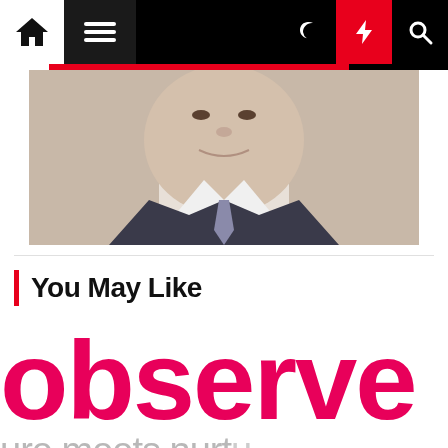[Figure (screenshot): Website navigation bar with home icon, hamburger menu, moon icon, lightning bolt icon (red background), and search icon on black background]
[Figure (photo): Partial photo of a man in a suit, showing lower face and neck area]
You May Like
[Figure (logo): Observer magazine logo in large pink/crimson rounded letters reading 'observe...' cropped, with tagline 'ure meets nurtu' in gray below]